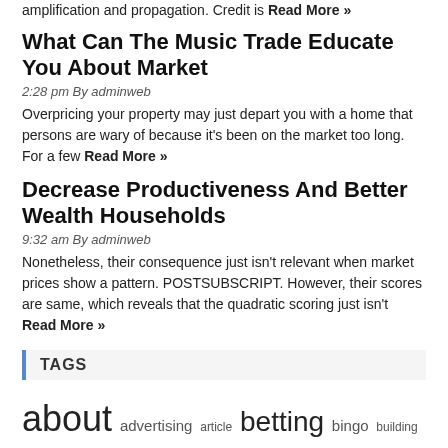amplification and propagation. Credit is Read More »
What Can The Music Trade Educate You About Market
2:28 pm By adminweb
Overpricing your property may just depart you with a home that persons are wary of because it's been on the market too long. For a few Read More »
Decrease Productiveness And Better Wealth Households
9:32 am By adminweb
Nonetheless, their consequence just isn't relevant when market prices show a pattern. POSTSUBSCRIPT. However, their scores are same, which reveals that the quadratic scoring just isn't Read More »
TAGS
about advertising article betting bingo building business casino design economy films freelancer gambling games gaming google guide ideas information interior internet issues learn management market marketing marketplace methods